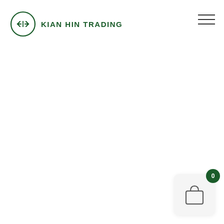[Figure (logo): Kian Hin Trading logo: a circle with two horizontal arrows pointing left and right in dark green, followed by bold green text reading KIAN HIN TRADING]
[Figure (other): Hamburger menu icon: three horizontal dark lines stacked vertically, top-right corner]
[Figure (other): Shopping bag widget in lower right: a white rounded rectangle card with a shopping bag outline icon, and a dark green circle badge with the number 0]